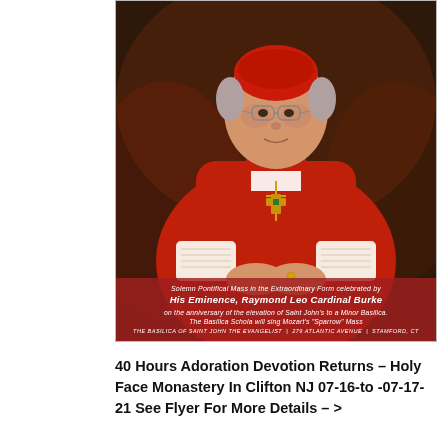[Figure (photo): A Catholic Cardinal dressed in full red vestments and a red zucchetto, wearing glasses and a large ornate cross necklace, hands folded in front, seated before a dark ornate background. Overlay text at the bottom reads: 'Solemn Pontifical Mass in the Extraordinary Form celebrated by His Eminence, Raymond Leo Cardinal Burke on the anniversary of the elevation of Saint John's to a Minor Basilica. The Basilica Schola will sing Mozart's "Sparrow" Mass. THE BASILICA OF SAINT JOHN THE EVANGELIST | 279 ATLANTIC AVENUE | STAMFORD, CT']
40 Hours Adoration Devotion Returns – Holy Face Monastery In Clifton NJ 07-16-to -07-17-21 See Flyer For More Details – >